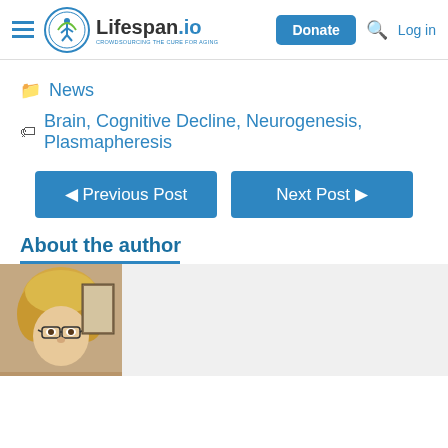Lifespan.io — Donate | Log in
News
Brain, Cognitive Decline, Neurogenesis, Plasmapheresis
◄ Previous Post    Next Post ►
About the author
[Figure (photo): Author photo: person with curly blonde hair and glasses]